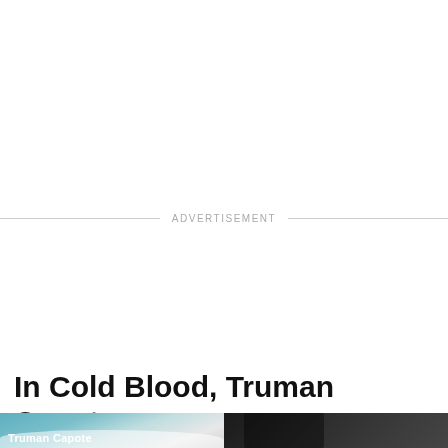ADVERTISEMENT
In Cold Blood, Truman Capote
[Figure (photo): Book cover of In Cold Blood by Truman Capote with teal/blue sky background and text 'Truman Capote']
[Figure (photo): Black and white photograph, dark tones, architectural or figure details]